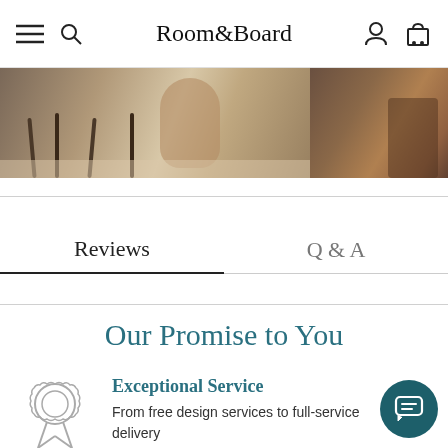Room&Board
[Figure (photo): Hero image strip showing furniture/interior scene with chairs and warm lighting]
Reviews   Q & A
Our Promise to You
[Figure (illustration): Award/ribbon badge icon outline]
Exceptional Service
From free design services to full-service delivery